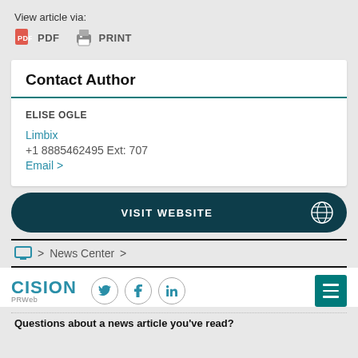View article via:
PDF   PRINT
Contact Author
ELISE OGLE
Limbix
+1 8885462495 Ext: 707
Email >
VISIT WEBSITE
> News Center >
CISION PRWeb
Questions about a news article you've read?